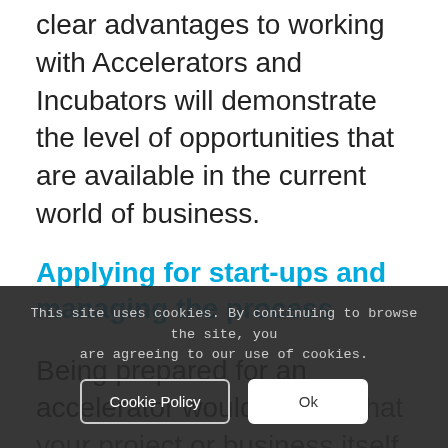clear advantages to working with Accelerators and Incubators will demonstrate the level of opportunities that are available in the current world of business.
Applying for start-ups and managing the process
Being prepared for an accelerator would ensure that your project or business itself is going in the right direction. The accelerators would, in turn, wish to understand that the project is reliable and committed to an ongoing project
This site uses cookies. By continuing to browse the site, you are agreeing to our use of cookies.